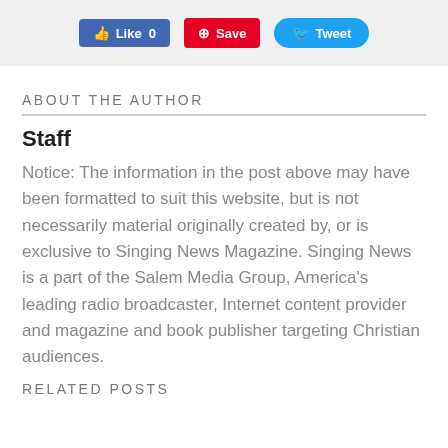[Figure (screenshot): Social sharing buttons: Facebook Like (0), Pinterest Save, Twitter Tweet]
ABOUT THE AUTHOR
Staff
Notice: The information in the post above may have been formatted to suit this website, but is not necessarily material originally created by, or is exclusive to Singing News Magazine. Singing News is a part of the Salem Media Group, America's leading radio broadcaster, Internet content provider and magazine and book publisher targeting Christian audiences.
RELATED POSTS